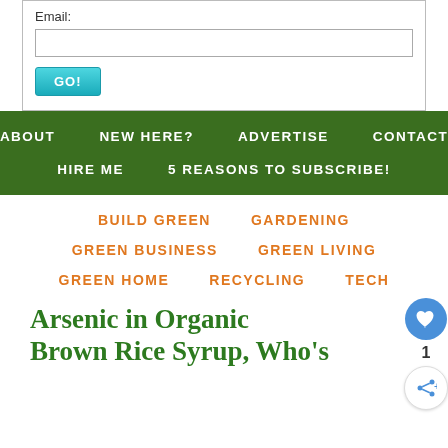Email:
ABOUT   NEW HERE?   ADVERTISE   CONTACT
HIRE ME   5 REASONS TO SUBSCRIBE!
BUILD GREEN
GARDENING
GREEN BUSINESS
GREEN LIVING
GREEN HOME
RECYCLING
TECH
Arsenic in Organic Brown Rice Syrup, Who's